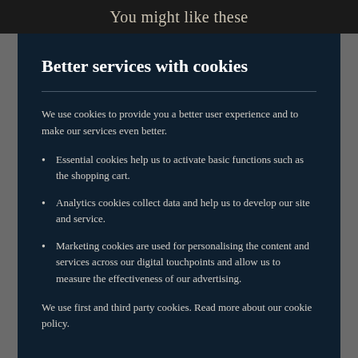You might like these
Better services with cookies
We use cookies to provide you a better user experience and to make our services even better.
Essential cookies help us to activate basic functions such as the shopping cart.
Analytics cookies collect data and help us to develop our site and service.
Marketing cookies are used for personalising the content and services across our digital touchpoints and allow us to measure the effectiveness of our advertising.
We use first and third party cookies. Read more about our cookie policy.